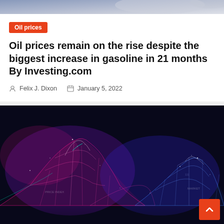[Figure (photo): Partial top strip of a decorative image, blurred/grey gradient]
Oil prices
Oil prices remain on the rise despite the biggest increase in gasoline in 21 months By Investing.com
Felix J. Dixon   January 5, 2022
[Figure (illustration): Abstract digital data visualization with glowing pink and blue wave mesh surfaces on a dark background, resembling a financial data chart landscape]